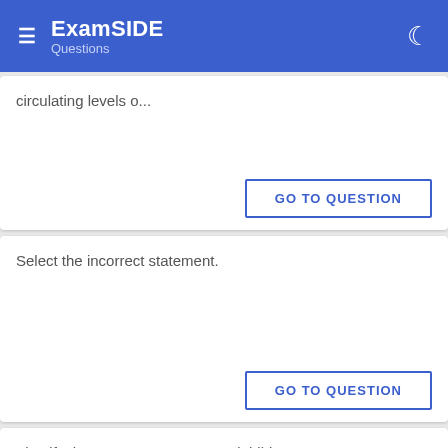ExamSIDE Questions
circulating levels o...
GO TO QUESTION
Select the incorrect statement.
GO TO QUESTION
Identify the correct statement on 'inhibin'.
GO TO QUESTION